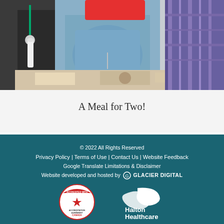[Figure (photo): Photo of people sharing a meal at a table, one person wearing a blue bib/apron]
A Meal for Two!
© 2022 All Rights Reserved
Privacy Policy | Terms of Use | Contact Us | Website Feedback
Google Translate Limitations & Disclaimer
Website developed and hosted by GLACIER DIGITAL
[Accreditation Canada badge: Accredited with Exemplary Standing] [Halton Healthcare logo]